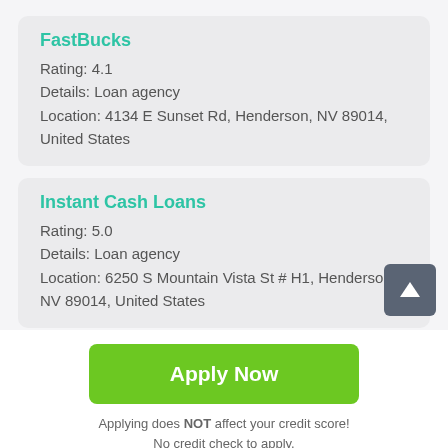FastBucks
Rating: 4.1
Details: Loan agency
Location: 4134 E Sunset Rd, Henderson, NV 89014, United States
Instant Cash Loans
Rating: 5.0
Details: Loan agency
Location: 6250 S Mountain Vista St # H1, Henderson, NV 89014, United States
Apply Now
Applying does NOT affect your credit score!
No credit check to apply.